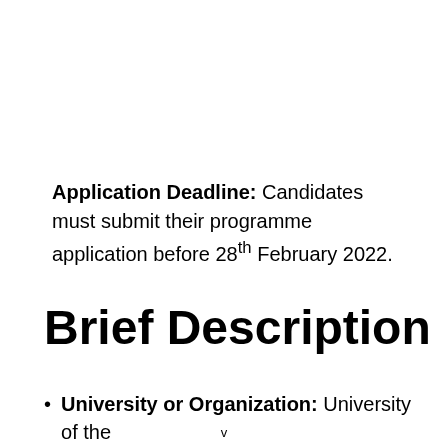Application Deadline: Candidates must submit their programme application before 28th February 2022.
Brief Description
University or Organization: University of the
v